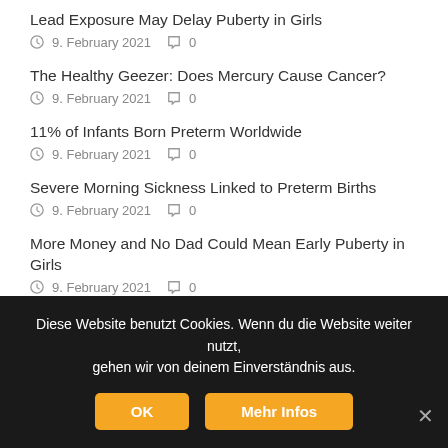Lead Exposure May Delay Puberty in Girls
9. February 2021  0
The Healthy Geezer: Does Mercury Cause Cancer?
9. February 2021  0
11% of Infants Born Preterm Worldwide
9. February 2021  0
Severe Morning Sickness Linked to Preterm Births
9. February 2021  0
More Money and No Dad Could Mean Early Puberty in Girls
9. February 2021  0
Too Little or Too Much Sleep May Raise Heart…
Diese Website benutzt Cookies. Wenn du die Website weiter nutzt, gehen wir von deinem Einverständnis aus.
OK  Mehr Infos